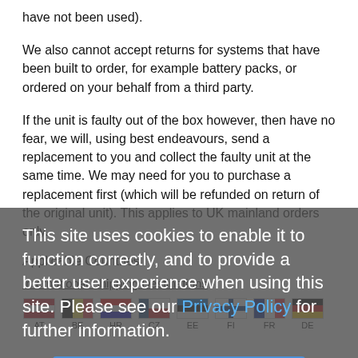have not been used).
We also cannot accept returns for systems that have been built to order, for example battery packs, or ordered on your behalf from a third party.
If the unit is faulty out of the box however, then have no fear, we will, using best endeavours, send a replacement to you and collect the faulty unit at the same time. We may need for you to purchase a replacement first (which will be refunded on return of the original unit). This applies to UK mainland orders only.
Applicable Countries
International Shipping Destinations
[Figure (infographic): Row of country flags with abbreviations: AT, BE, HR, CZ, EE, FI, FR, DE]
[Figure (infographic): Cookie consent overlay with text: This site uses cookies to enable it to function correctly, and to provide a better user experience when using this site. Please see our Privacy Policy for further information. Accept Cookies button.]